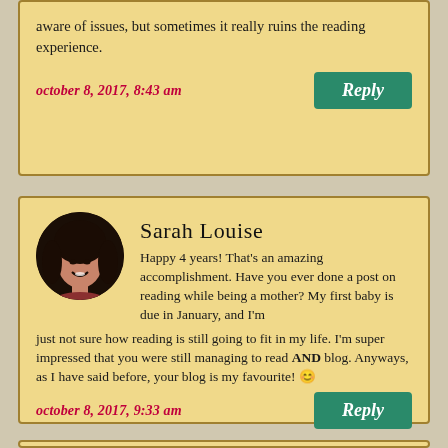aware of issues, but sometimes it really ruins the reading experience.
october 8, 2017, 8:43 am
Reply
Sarah Louise
Happy 4 years! That's an amazing accomplishment. Have you ever done a post on reading while being a mother? My first baby is due in January, and I'm just not sure how reading is still going to fit in my life. I'm super impressed that you were still managing to read AND blog. Anyways, as I have said before, your blog is my favourite! 😊
october 8, 2017, 9:33 am
Reply